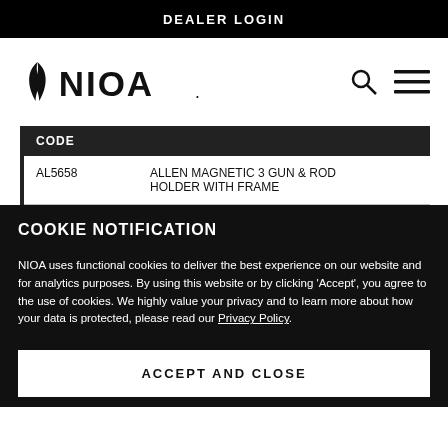DEALER LOGIN
[Figure (logo): NIOA logo with stylized leaf/flame mark and search and hamburger menu icons]
| CODE |  |
| --- | --- |
| AL5658 | ALLEN MAGNETIC 3 GUN & ROD HOLDER WITH FRAME |
COOKIE NOTIFICATION
NIOA uses functional cookies to deliver the best experience on our website and for analytics purposes. By using this website or by clicking 'Accept', you agree to the use of cookies. We highly value your privacy and to learn more about how your data is protected, please read our Privacy Policy.
ACCEPT AND CLOSE